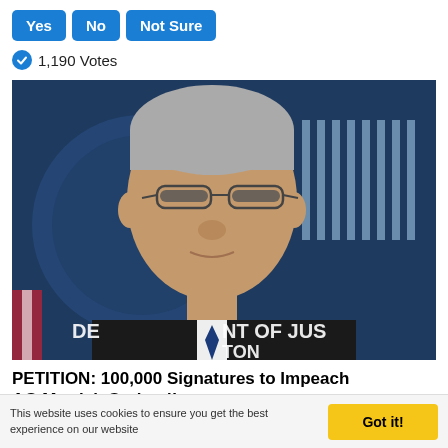Yes | No | Not Sure
🔄 1,190 Votes
[Figure (photo): Man with gray hair and glasses speaking at a podium in front of a Department of Justice seal/backdrop]
PETITION: 100,000 Signatures to Impeach AG Merrick Garland!
🔥 694
This website uses cookies to ensure you get the best experience on our website